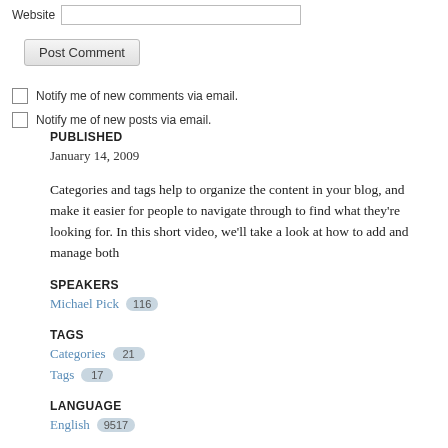Website [input field]
Post Comment [button]
Notify me of new comments via email.
Notify me of new posts via email.
PUBLISHED
January 14, 2009
Categories and tags help to organize the content in your blog, and make it easier for people to navigate through to find what they're looking for. In this short video, we'll take a look at how to add and manage both
SPEAKERS
Michael Pick 116
TAGS
Categories 21
Tags 17
LANGUAGE
English 9517
DOWNLOAD